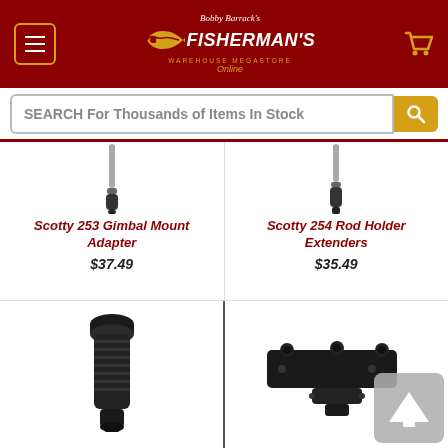[Figure (logo): Bobby Barrack's Fisherman's Warehouse Megastore Online logo on dark red header with menu button and cart icon]
SEARCH For Thousands of Items In Stock
[Figure (photo): Scotty 253 Gimbal Mount Adapter product image showing rod adapter tip]
Scotty 253 Gimbal Mount Adapter
$37.49
[Figure (photo): Scotty 254 Rod Holder Extenders product image showing rod extender]
Scotty 254 Rod Holder Extenders
$35.49
[Figure (photo): Black cylindrical rod holder adapter piece]
[Figure (photo): Black multi-position rod holder bracket mount]